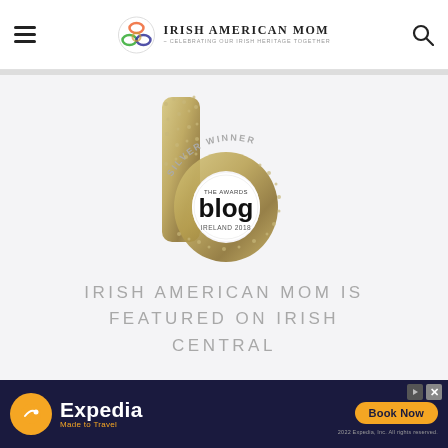Irish American Mom - Celebrating Our Irish Heritage Together
[Figure (logo): Blog Awards Ireland 2018 Silver Winner badge — a large stylized letter 'b' made of glittering gold/silver dots with a speech bubble, with text 'THE AWARDS blog IRELAND 2018' and arc text 'SILVER WINNER']
IRISH AMERICAN MOM IS FEATURED ON IRISH CENTRAL
[Figure (infographic): Expedia advertisement banner: dark navy background, orange circular icon with plane/travel symbol, 'Expedia' in white bold text, 'Made to Travel' in orange, 'Book Now' button in orange pill shape, '2022 Expedia, Inc. All rights reserved.' in small gray text]